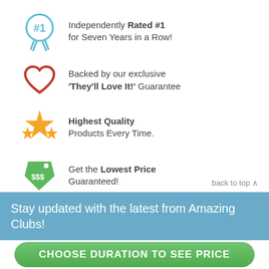Independently Rated #1 for Seven Years in a Row!
Backed by our exclusive 'They'll Love It!' Guarantee
Highest Quality Products Every Time.
Get the Lowest Price Guaranteed!
back to top ^
Stay updated with the latest from Amazing Clubs!
CHOOSE DURATION TO SEE PRICE